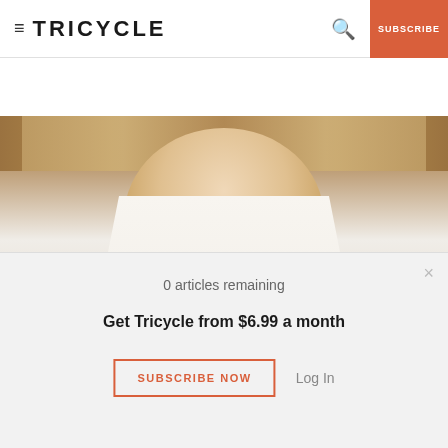TRICYCLE | SUBSCRIBE
[Figure (photo): Buddhist monk or teacher in white robes with brown sash, photographed from chest up, wooden cabinet in background. Play button overlay in lower left.]
DHARMA TALKS
The Threefold Practice of Won Buddhism
Rev. Grace Song
0 articles remaining
Get Tricycle from $6.99 a month
SUBSCRIBE NOW | Log In